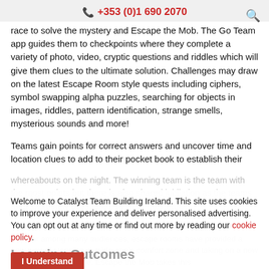+353 (0)1 690 2070
race to solve the mystery and Escape the Mob. The Go Team app guides them to checkpoints where they complete a variety of photo, video, cryptic questions and riddles which will give them clues to the ultimate solution. Challenges may draw on the latest Escape Room style quests including ciphers, symbol swapping alpha puzzles, searching for objects in images, riddles, pattern identification, strange smells, mysterious sounds and more!
Teams gain points for correct answers and uncover time and location clues to add to their pocket book to establish their whereabouts on the night. The winning team is the team with the most points but there is also shared jubilation as the teams must ultimately collaborate to clear their name.
Welcome to Catalyst Team Building Ireland. This site uses cookies to improve your experience and deliver personalised advertising. You can opt out at any time or find out more by reading our cookie policy.
Learning Outcomes
Popular among many audiences, escape rooms have provided a new way of stepping outside one's comfort zone and taking on a new and exciting challenge. Escape the Mob takes this exhilaration into a flexible format where challenges can be